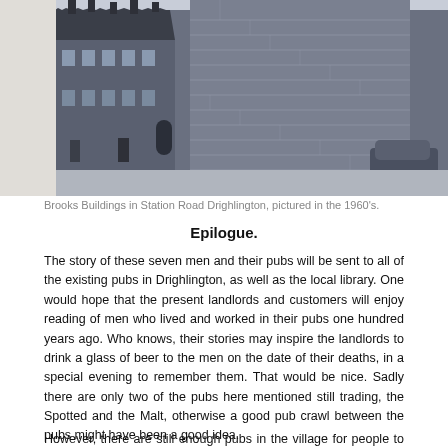[Figure (photo): Black and white photograph of Brooks Buildings in Station Road Drighlington, showing a row of stone terraced houses and a large stone wall, with a vintage car visible on the right, taken in the 1960s.]
Brooks Buildings in Station Road Drighlington, pictured in the 1960's.
Epilogue.
The story of these seven men and their pubs will be sent to all of the existing pubs in Drighlington, as well as the local library. One would hope that the present landlords and customers will enjoy reading of men who lived and worked in their pubs one hundred years ago. Who knows, their stories may inspire the landlords to drink a glass of beer to the men on the date of their deaths, in a special evening to remember them. That would be nice. Sadly there are only two of the pubs here mentioned still trading, the Spotted and the Malt, otherwise a good pub crawl between the pubs might have been a good idea.
However, there are still enough pubs in the village for people to visit